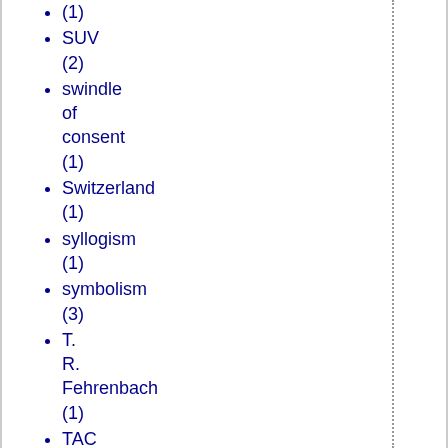(1)
SUV (2)
swindle of consent (1)
Switzerland (1)
syllogism (1)
symbolism (3)
T. R. Fehrenbach (1)
TAC (2)
Talk Radio (1)
Talking Points (1)